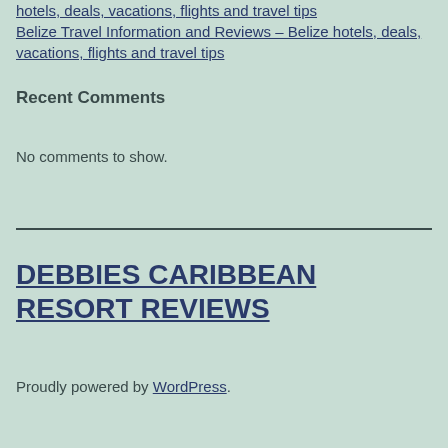hotels, deals, vacations, flights and travel tips
Belize Travel Information and Reviews – Belize hotels, deals, vacations, flights and travel tips
Recent Comments
No comments to show.
DEBBIES CARIBBEAN RESORT REVIEWS
Proudly powered by WordPress.